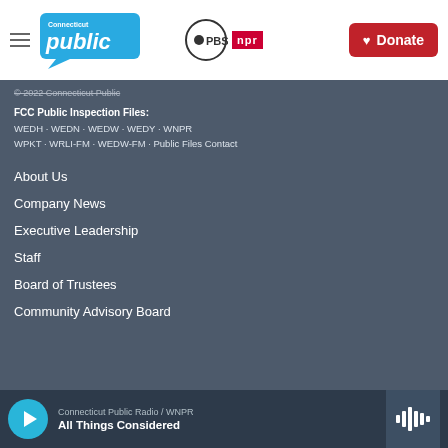Connecticut Public | PBS | NPR | Donate
© 2022 Connecticut Public
FCC Public Inspection Files: WEDH · WEDN · WEDW · WEDY · WNPR WPKT · WRLI-FM · WEDW-FM · Public Files Contact
About Us
Company News
Executive Leadership
Staff
Board of Trustees
Community Advisory Board
Connecticut Public Radio / WNPR — All Things Considered